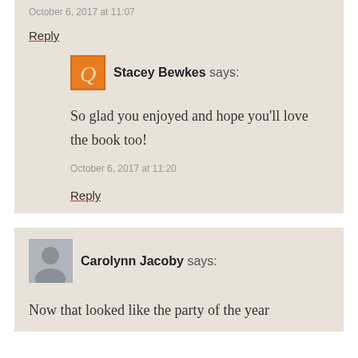October 6, 2017 at 11:07
Reply
Stacey Bewkes says:
So glad you enjoyed and hope you'll love the book too!
October 6, 2017 at 11:20
Reply
Carolynn Jacoby says:
Now that looked like the party of the year